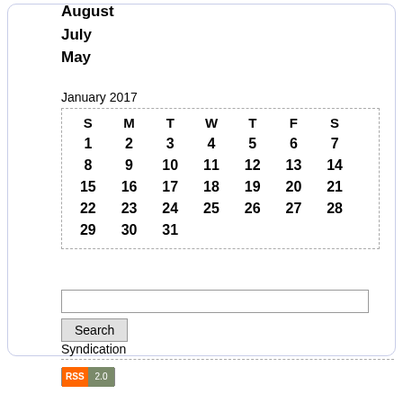August
July
May
| S | M | T | W | T | F | S |
| --- | --- | --- | --- | --- | --- | --- |
| 1 | 2 | 3 | 4 | 5 | 6 | 7 |
| 8 | 9 | 10 | 11 | 12 | 13 | 14 |
| 15 | 16 | 17 | 18 | 19 | 20 | 21 |
| 22 | 23 | 24 | 25 | 26 | 27 | 28 |
| 29 | 30 | 31 |  |  |  |  |
Search
Syndication
[Figure (other): RSS 2.0 badge]